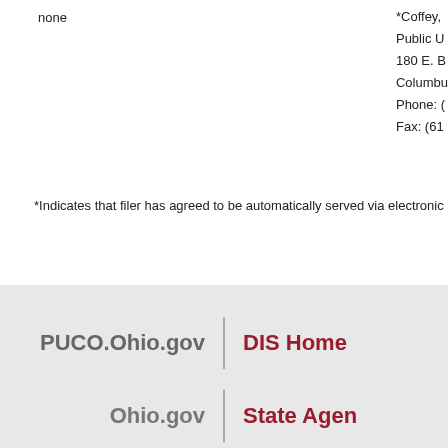none
*Coffey, Public U 180 E. B Columbu Phone: ( Fax: (61
*Indicates that filer has agreed to be automatically served via electronic m
PUCO.Ohio.gov | DIS Home
Ohio.gov | State Agen